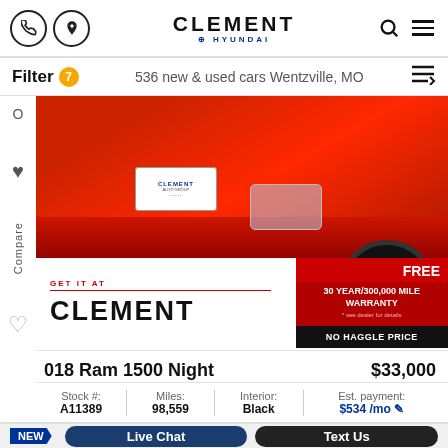Clement Hyundai — phone icon, directions icon, search icon, menu icon
Filter 7  536 new & used cars Wentzville, MO
[Figure (photo): Close-up of a red Ram 1500 truck front/undercarriage with black wheels, Clement license plate, on a blue-gray surface. Overlay banner shows GET IT AT CLEMENT logo on left, FREE 30 YEAR/300,000 MILE WARRANTY and NO HAGGLE PRICE on red/black right panel.]
018 Ram 1500 Night   $33,000
| Stock # | Miles: | Interior: | Est. payment: |
| --- | --- | --- | --- |
| A11389 | 98,559 | Black | $534 /mo |
NEW   Live Chat   Text Us